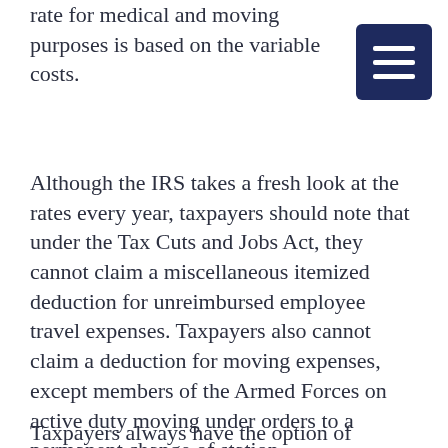rate for medical and moving purposes is based on the variable costs.
Although the IRS takes a fresh look at the rates every year, taxpayers should note that under the Tax Cuts and Jobs Act, they cannot claim a miscellaneous itemized deduction for unreimbursed employee travel expenses. Taxpayers also cannot claim a deduction for moving expenses, except members of the Armed Forces on active duty moving under orders to a permanent change of station.
Taxpayers always have the option of